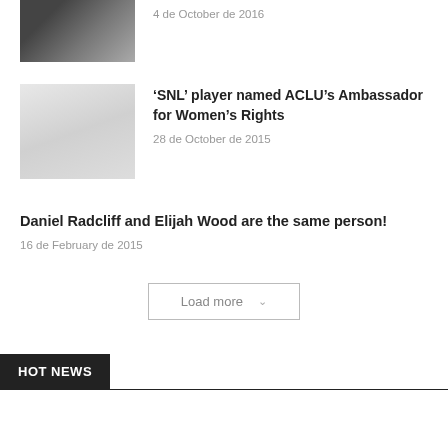[Figure (photo): Partial thumbnail image of two people, cropped at top]
4 de October de 2016
[Figure (photo): Thumbnail image, faded/light, appears to show a person]
'SNL' player named ACLU's Ambassador for Women's Rights
28 de October de 2015
Daniel Radcliff and Elijah Wood are the same person!
16 de February de 2015
Load more
HOT NEWS